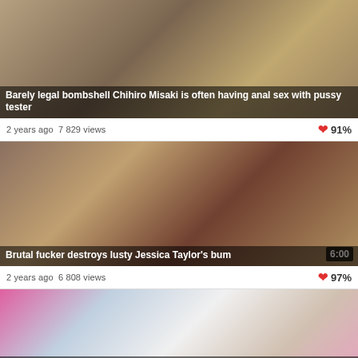[Figure (photo): Video thumbnail showing adult content - top portion visible]
Barely legal bombshell Chihiro Misaki is often having anal sex with pussy tester
2 years ago  7 829 views  ❤ 91%
[Figure (photo): Video thumbnail - Brutal fucker destroys lusty Jessica Taylor's bum, duration 6:00]
Brutal fucker destroys lusty Jessica Taylor's bum
2 years ago  6 808 views  ❤ 97%
[Figure (photo): Video thumbnail - Cock up the hot-tempered barely legal gal Missy Stone's butt is tons of fun check it out, duration 6:00]
Cock up the hot-tempered barely legal gal Missy Stone's butt is tons of fun check it out